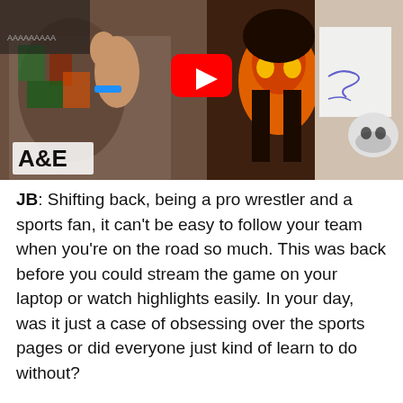[Figure (screenshot): YouTube video thumbnail showing a pro wrestler and sports memorabilia, with a YouTube play button overlay and A&E logo in the bottom left corner.]
JB: Shifting back, being a pro wrestler and a sports fan, it can't be easy to follow your team when you're on the road so much. This was back before you could stream the game on your laptop or watch highlights easily. In your day, was it just a case of obsessing over the sports pages or did everyone just kind of learn to do without?
MF: Yeah, I learned to do without. I kind of lost touch